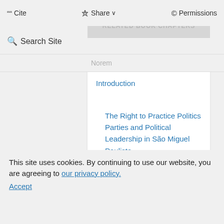66 Cite   o8 Share   © Permissions
RELATED BOOK CHAPTERS
Search Site
Norem
Introduction
The Right to Practice Politics Parties and Political Leadership in São Miguel Paulista
The Apotheosis of the Working Man
This site uses cookies. By continuing to use our website, you are agreeing to our privacy policy. Accept
WE RECOMMEND
Workers or Citizens: Democracy and Identity in Rosario, Argentina (1912–1930)